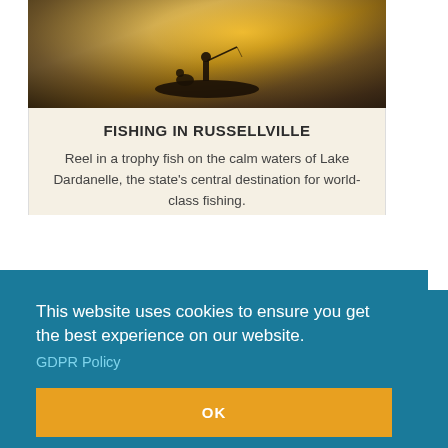[Figure (photo): Fishing scene at sunset on a lake — silhouette of a person standing on a boat with golden light reflecting off the water]
FISHING IN RUSSELLVILLE
Reel in a trophy fish on the calm waters of Lake Dardanelle, the state's central destination for world-class fishing.
LEARN MORE
This website uses cookies to ensure you get the best experience on our website.
GDPR Policy
OK
[Figure (photo): Partial background image of outdoor scenery (lake/sky) visible behind the cookie consent banner]